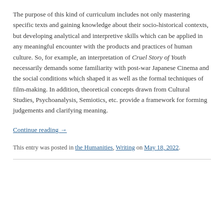The purpose of this kind of curriculum includes not only mastering specific texts and gaining knowledge about their socio-historical contexts, but developing analytical and interpretive skills which can be applied in any meaningful encounter with the products and practices of human culture. So, for example, an interpretation of Cruel Story of Youth necessarily demands some familiarity with post-war Japanese Cinema and the social conditions which shaped it as well as the formal techniques of film-making. In addition, theoretical concepts drawn from Cultural Studies, Psychoanalysis, Semiotics, etc. provide a framework for forming judgements and clarifying meaning.
Continue reading →
This entry was posted in the Humanities, Writing on May 18, 2022.